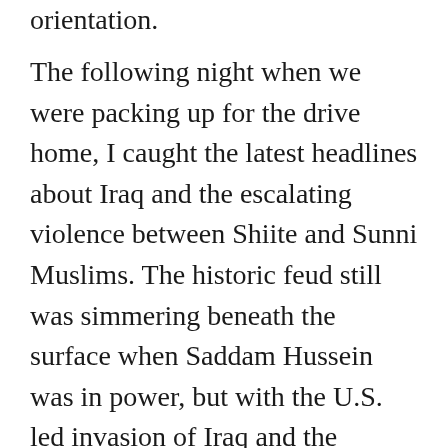orientation.
The following night when we were packing up for the drive home, I caught the latest headlines about Iraq and the escalating violence between Shiite and Sunni Muslims. The historic feud still was simmering beneath the surface when Saddam Hussein was in power, but with the U.S. led invasion of Iraq and the resulting political upheaval, the rancor between Sunnis and Shiites has exploded into a full-fledged war.